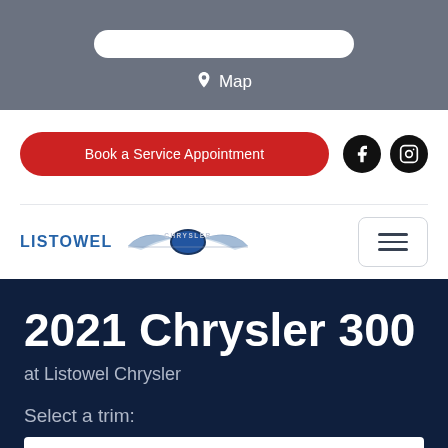[Figure (screenshot): Gray top bar with search field stub and Map link with pin icon]
Map
Book a Service Appointment
[Figure (logo): Facebook icon circle]
[Figure (logo): Instagram icon circle]
LISTOWEL
[Figure (logo): Chrysler winged logo]
[Figure (other): Hamburger menu button with three horizontal lines]
2021 Chrysler 300
at Listowel Chrysler
Select a trim: